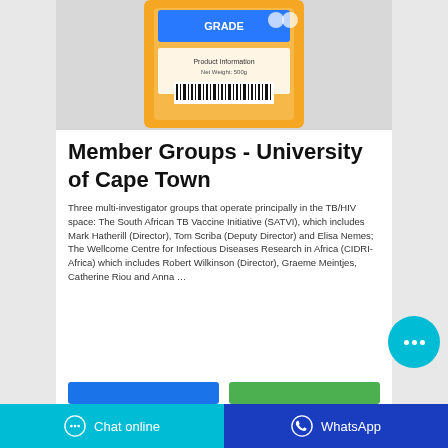[Figure (photo): Orange product bag (appears to be a powder or detergent package) photographed against a light grey background, showing the back/front of the packaging with labels and a barcode visible.]
Member Groups - University of Cape Town
Three multi-investigator groups that operate principally in the TB/HIV space: The South African TB Vaccine Initiative (SATVI), which includes Mark Hatherill (Director), Tom Scriba (Deputy Director) and Elisa Nemes; The Wellcome Centre for Infectious Diseases Research in Africa (CIDRI-Africa) which includes Robert Wilkinson (Director), Graeme Meintjes, Catherine Riou and Anna …
Chat online   WhatsApp